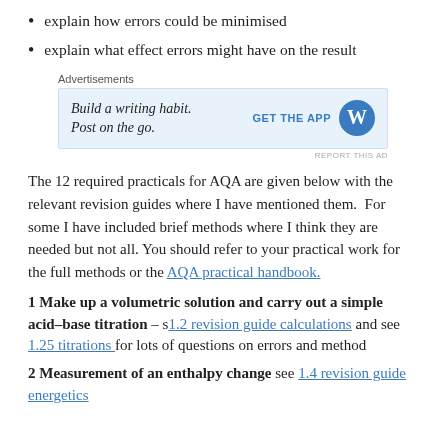explain how errors could be minimised
explain what effect errors might have on the result
[Figure (other): Advertisement banner: 'Build a writing habit. Post on the go.' with GET THE APP button and WordPress logo]
The 12 required practicals for AQA are given below with the relevant revision guides where I have mentioned them. For some I have included brief methods where I think they are needed but not all. You should refer to your practical work for the full methods or the AQA practical handbook.
1 Make up a volumetric solution and carry out a simple acid–base titration – s1.2 revision guide calculations and see 1.25 titrations for lots of questions on errors and method
2 Measurement of an enthalpy change see 1.4 revision guide energetics